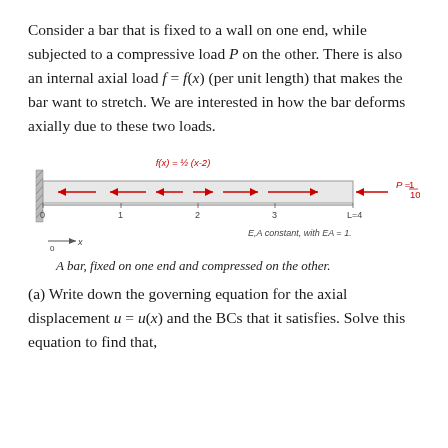Consider a bar that is fixed to a wall on one end, while subjected to a compressive load P on the other. There is also an internal axial load f = f(x) (per unit length) that makes the bar want to stretch. We are interested in how the bar deforms axially due to these two loads.
[Figure (engineering-diagram): A bar fixed to a wall on the left end, with distributed internal axial load f(x) = (1/2)(x-2) shown as arrows pointing left and right along the bar, and a compressive load P = 1/10 applied at the right end. The bar spans from 0 to L=4, with x-axis shown. EA constant, with EA=1 annotated.]
A bar, fixed on one end and compressed on the other.
(a) Write down the governing equation for the axial displacement u = u(x) and the BCs that it satisfies. Solve this equation to find that,